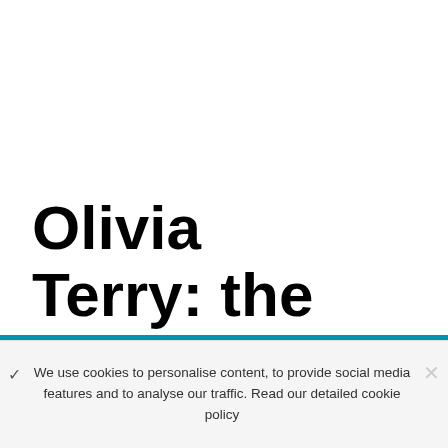Olivia Terry: the
We use cookies to personalise content, to provide social media features and to analyse our traffic. Read our detailed cookie policy